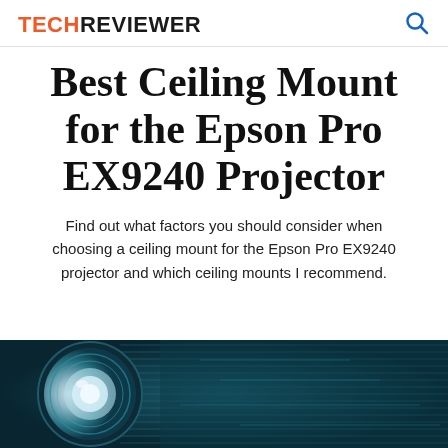TECHREVIEWER
Best Ceiling Mount for the Epson Pro EX9240 Projector
Find out what factors you should consider when choosing a ceiling mount for the Epson Pro EX9240 projector and which ceiling mounts I recommend.
[Figure (photo): Close-up photo of a projector lens with teal and dark blue tones, showing circular lens elements]